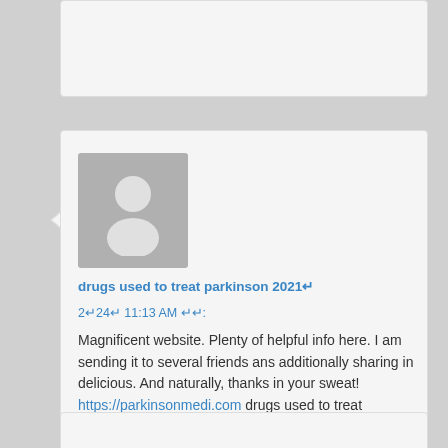[Figure (other): Partial comment box at top of page, cut off]
[Figure (photo): User avatar - grey silhouette of a person on grey background]
drugs used to treat parkinson 2021↵
2↵24↵ 11:13 AM ↵↵:
Magnificent website. Plenty of helpful info here. I am sending it to several friends ans additionally sharing in delicious. And naturally, thanks in your sweat! https://parkinsonmedi.com drugs used to treat parkinson
[Figure (other): Partial comment box at bottom of page, cut off]